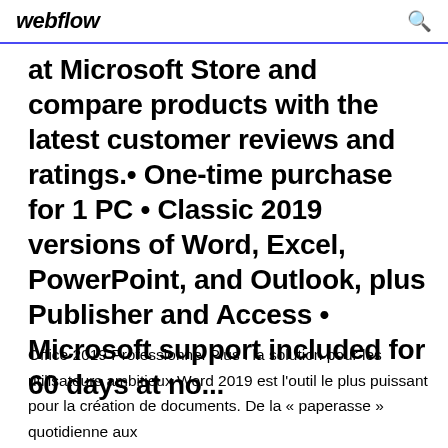webflow
at Microsoft Store and compare products with the latest customer reviews and ratings.• One-time purchase for 1 PC • Classic 2019 versions of Word, Excel, PowerPoint, and Outlook, plus Publisher and Access • Microsoft support included for 60 days at no...
Office 2019 Professionnel Plus : la solution pour les utilisateurs ambitieux Word 2019 est l'outil le plus puissant pour la création de documents. De la « paperasse » quotidienne aux